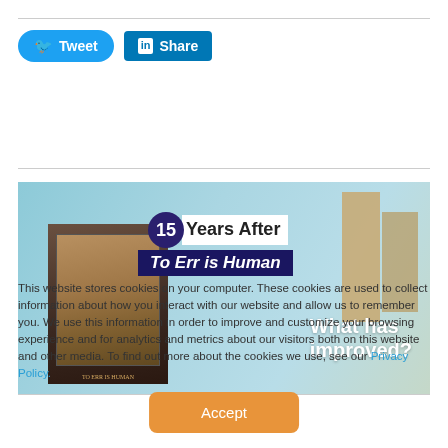[Figure (screenshot): Twitter Tweet button (blue pill-shaped) and LinkedIn Share button (blue rectangle) for sharing content on social media.]
[Figure (photo): Promotional image: '15 Years After To Err is Human — What has improved?' showing a book cover against a blue background.]
This website stores cookies on your computer. These cookies are used to collect information about how you interact with our website and allow us to remember you. We use this information in order to improve and customize your browsing experience and for analytics and metrics about our visitors both on this website and other media. To find out more about the cookies we use, see our Privacy Policy.
Accept